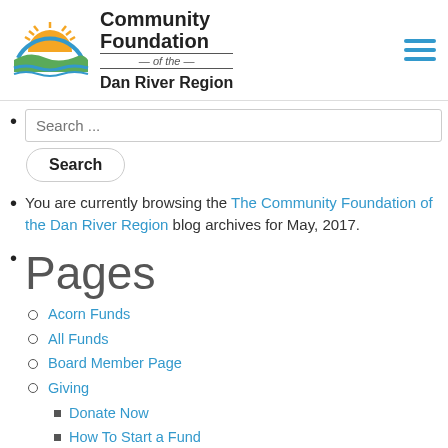[Figure (logo): Community Foundation of the Dan River Region logo with sun and waves graphic]
Search ... [search box and button]
You are currently browsing the The Community Foundation of the Dan River Region blog archives for May, 2017.
Pages
Acorn Funds
All Funds
Board Member Page
Giving
Donate Now
How To Start a Fund
Agency and Church Endowments
Community Partnerships
Donor Advised Funds
Field of Interest Funds